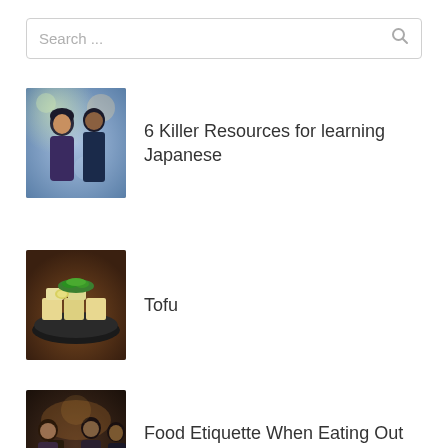[Figure (screenshot): Search bar with placeholder text 'Search ...' and a magnifying glass icon on the right]
[Figure (photo): Two people, a woman and a man, in an outdoor scene with bokeh background]
6 Killer Resources for learning Japanese
[Figure (photo): A plate of tofu garnished with green herbs on a dark dish]
Tofu
[Figure (photo): People eating out at a restaurant in Japan]
Food Etiquette When Eating Out In Japan